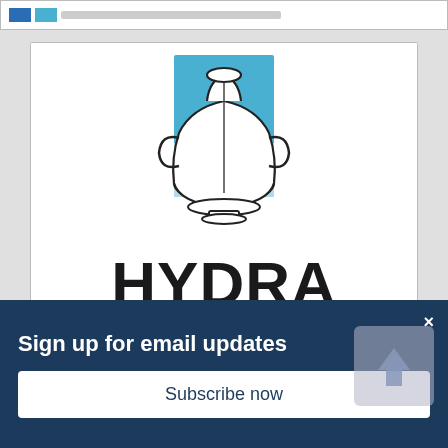[Figure (logo): Hydra Insurance Company Ltd logo — stylized Greek amphora/vase with blue rectangular background, below it large text HYDRA and smaller text 'insurance company ltd' with a teal underline]
Hydra Insurance
If you want to be insured at an extremely reasonable and affordable cost with a high financial strength company, well
Sign up for email updates
Subscribe now